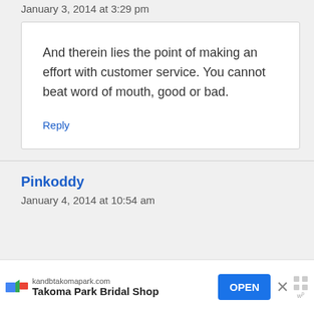January 3, 2014 at 3:29 pm
And therein lies the point of making an effort with customer service. You cannot beat word of mouth, good or bad.
Reply
Pinkoddy
January 4, 2014 at 10:54 am
[Figure (screenshot): Advertisement banner: kandbtakomapark.com - Takoma Park Bridal Shop with OPEN button]